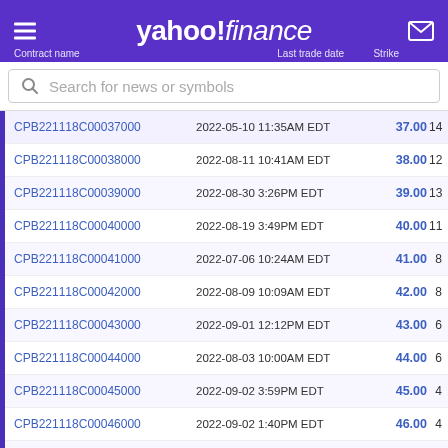yahoo! finance
| Contract name | Last trade date | Strike |  |
| --- | --- | --- | --- |
| CPB221118C00037000 | 2022-05-10 11:35AM EDT | 37.00 | 14 |
| CPB221118C00038000 | 2022-08-11 10:41AM EDT | 38.00 | 12 |
| CPB221118C00039000 | 2022-08-30 3:26PM EDT | 39.00 | 13 |
| CPB221118C00040000 | 2022-08-19 3:49PM EDT | 40.00 | 11 |
| CPB221118C00041000 | 2022-07-06 10:24AM EDT | 41.00 | 8 |
| CPB221118C00042000 | 2022-08-09 10:09AM EDT | 42.00 | 8 |
| CPB221118C00043000 | 2022-09-01 12:12PM EDT | 43.00 | 6 |
| CPB221118C00044000 | 2022-08-03 10:00AM EDT | 44.00 | 6 |
| CPB221118C00045000 | 2022-09-02 3:59PM EDT | 45.00 | 4 |
| CPB221118C00046000 | 2022-09-02 1:40PM EDT | 46.00 | 4 |
| CPB221118C00047000 | 2022-09-02 2:06PM EDT | 47.00 | 3 |
| CPB221118C00048000 | 2022-09-01 12:38PM EDT | 48.00 | 2 |